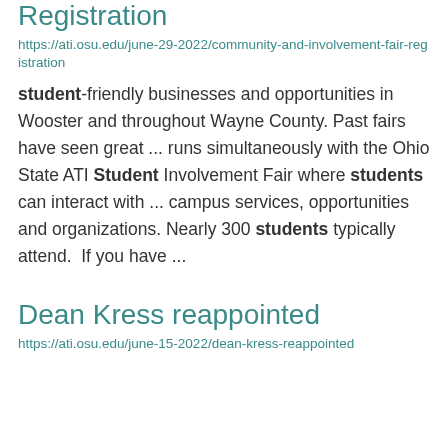Registration
https://ati.osu.edu/june-29-2022/community-and-involvement-fair-registration
student-friendly businesses and opportunities in Wooster and throughout Wayne County. Past fairs have seen great ... runs simultaneously with the Ohio State ATI Student Involvement Fair where students can interact with ... campus services, opportunities and organizations. Nearly 300 students typically attend. If you have ...
Dean Kress reappointed
https://ati.osu.edu/june-15-2022/dean-kress-reappointed